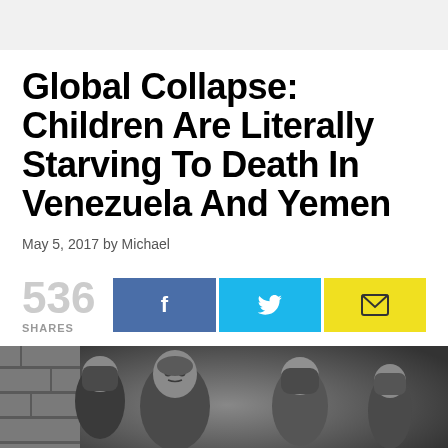Global Collapse: Children Are Literally Starving To Death In Venezuela And Yemen
May 5, 2017 by Michael
[Figure (infographic): Social share count showing 536 SHARES with Facebook, Twitter, and Email share buttons]
[Figure (photo): Black and white photograph of children, appearing to be in a Middle Eastern or Latin American setting, with a boy in the foreground looking at the camera and women in headscarves visible behind him]